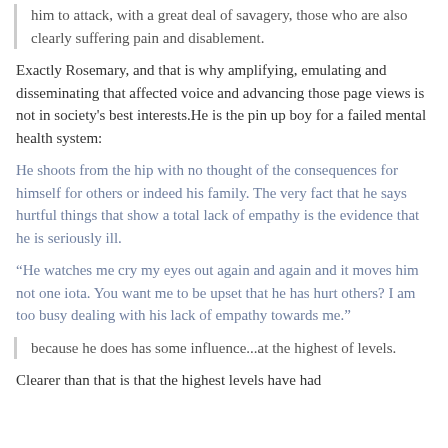him to attack, with a great deal of savagery, those who are also clearly suffering pain and disablement.
Exactly Rosemary, and that is why amplifying, emulating and disseminating that affected voice and advancing those page views is not in society's best interests.He is the pin up boy for a failed mental health system:
He shoots from the hip with no thought of the consequences for himself for others or indeed his family. The very fact that he says hurtful things that show a total lack of empathy is the evidence that he is seriously ill.
“He watches me cry my eyes out again and again and it moves him not one iota. You want me to be upset that he has hurt others? I am too busy dealing with his lack of empathy towards me.”
because he does has some influence...at the highest of levels.
Clearer than that is that the highest levels have had